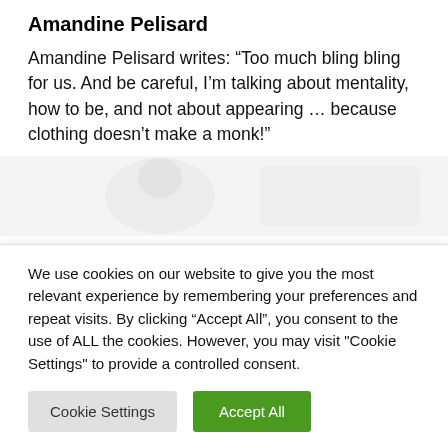Amandine Pelisard
Amandine Pelisard writes: “Too much bling bling for us. And be careful, I’m talking about mentality, how to be, and not about appearing … because clothing doesn’t make a monk!”
[Figure (photo): Faded/watermarked background image, largely washed out and unreadable]
We use cookies on our website to give you the most relevant experience by remembering your preferences and repeat visits. By clicking “Accept All”, you consent to the use of ALL the cookies. However, you may visit "Cookie Settings" to provide a controlled consent.